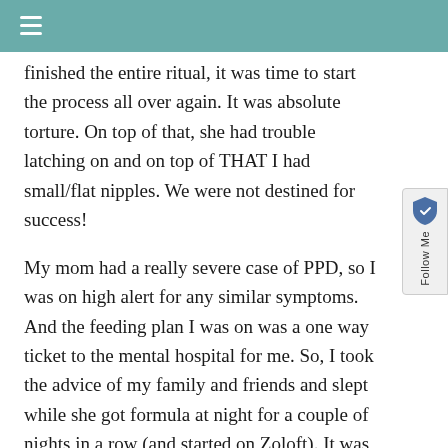finished the entire ritual, it was time to start the process all over again. It was absolute torture. On top of that, she had trouble latching on and on top of THAT I had small/flat nipples. We were not destined for success!
My mom had a really severe case of PPD, so I was on high alert for any similar symptoms. And the feeding plan I was on was a one way ticket to the mental hospital for me. So, I took the advice of my family and friends and slept while she got formula at night for a couple of nights in a row (and started on Zoloft). It was so early on in our breastfeeding relationship that I’m pretty sure going so long without nursing/pumping hurt my supply permanently. I had to give up on trying to wean her off the formula and exclusively breastfeed. It just wasn’t going to happen.